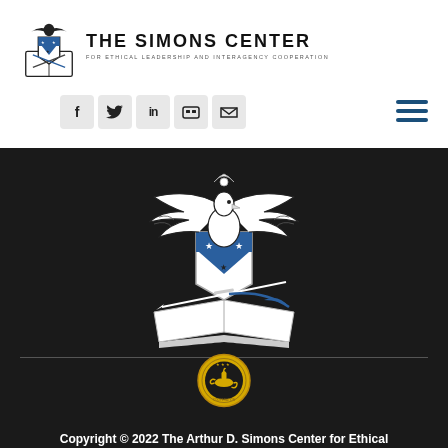[Figure (logo): The Simons Center for Ethical Leadership and Interagency Cooperation logo with crest and text]
[Figure (other): Social media icons: Facebook, Twitter, LinkedIn, Flickr, YouTube, and hamburger menu icon]
[Figure (illustration): Large Simons Center eagle emblem on dark background — eagle with spread wings perched on open book with sword and quill, shield with chevron and stars]
[Figure (logo): Gold circular seal with lamp/oil lamp graphic and stars]
Copyright © 2022 The Arthur D. Simons Center for Ethical